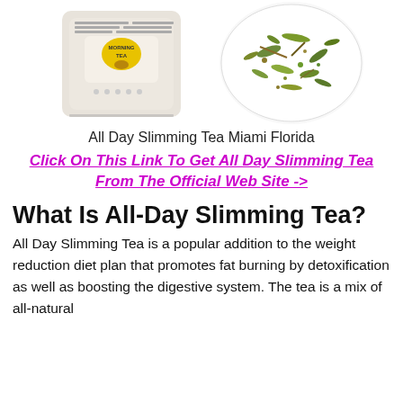[Figure (photo): Product photo of All Day Slimming Tea bag (white/cream pouch with label) on the left and a bowl of loose herbal tea leaves on the right]
All Day Slimming Tea Miami Florida
Click On This Link To Get All Day Slimming Tea From The Official Web Site ->
What Is All-Day Slimming Tea?
All Day Slimming Tea is a popular addition to the weight reduction diet plan that promotes fat burning by detoxification as well as boosting the digestive system. The tea is a mix of all-natural